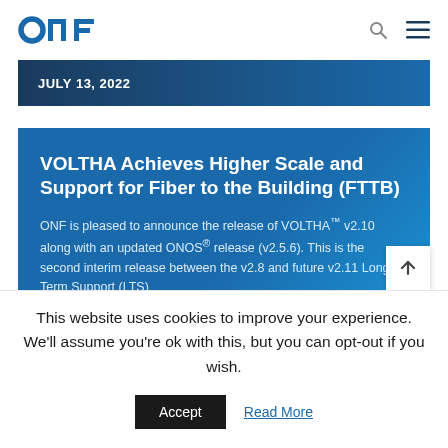ONF
JULY 13, 2022
VOLTHA Achieves Higher Scale and Support for Fiber to the Building (FTTB)
ONF is pleased to announce the release of VOLTHA™ v2.10 along with an updated ONOS® release (v2.5.6). This is the second interim release between the v2.8 and future v2.11 Long Term Support (LTS)
This website uses cookies to improve your experience. We'll assume you're ok with this, but you can opt-out if you wish.
Accept   Read More